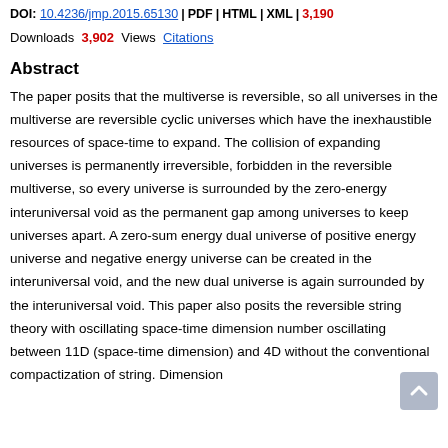DOI: 10.4236/jmp.2015.65130  PDF  HTML  XML  3,190
Downloads  3,902  Views  Citations
Abstract
The paper posits that the multiverse is reversible, so all universes in the multiverse are reversible cyclic universes which have the inexhaustible resources of space-time to expand. The collision of expanding universes is permanently irreversible, forbidden in the reversible multiverse, so every universe is surrounded by the zero-energy interuniversal void as the permanent gap among universes to keep universes apart. A zero-sum energy dual universe of positive energy universe and negative energy universe can be created in the interuniversal void, and the new dual universe is again surrounded by the interuniversal void. This paper also posits the reversible string theory with oscillating space-time dimension number oscillating between 11D (space-time dimension) and 4D without the conventional compactization of string. Dimension